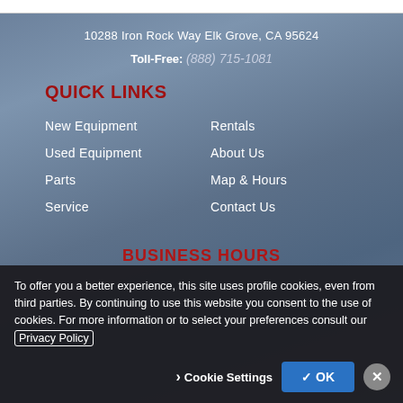10288 Iron Rock Way Elk Grove, CA 95624
Toll-Free: (888) 715-1081
QUICK LINKS
New Equipment
Used Equipment
Parts
Service
Rentals
About Us
Map & Hours
Contact Us
BUSINESS HOURS
To offer you a better experience, this site uses profile cookies, even from third parties. By continuing to use this website you consent to the use of cookies. For more information or to select your preferences consult our Privacy Policy